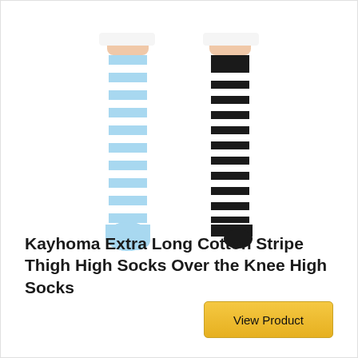[Figure (photo): Two legs wearing striped thigh-high socks side by side. Left leg wears light blue and white horizontal stripe over-the-knee socks. Right leg wears black and white horizontal stripe over-the-knee socks. Both legs show skin above the socks and white shorts/skirt at the top.]
Kayhoma Extra Long Cotton Stripe Thigh High Socks Over the Knee High Socks
View Product